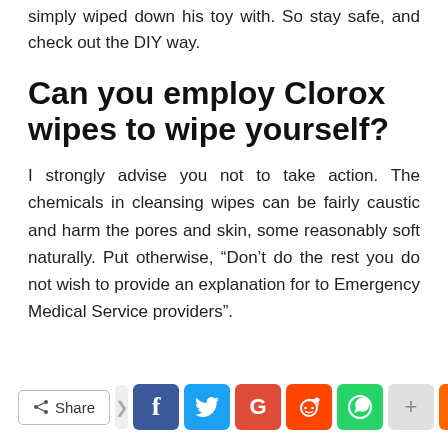simply wiped down his toy with. So stay safe, and check out the DIY way.
Can you employ Clorox wipes to wipe yourself?
I strongly advise you not to take action. The chemicals in cleansing wipes can be fairly caustic and harm the pores and skin, some reasonably soft naturally. Put otherwise, “Don’t do the rest you do not wish to provide an explanation for to Emergency Medical Service providers”.
[Figure (screenshot): Social media share bar with Share button and icons for Facebook, Twitter, Google, Reddit, WhatsApp, plus and up arrow buttons]